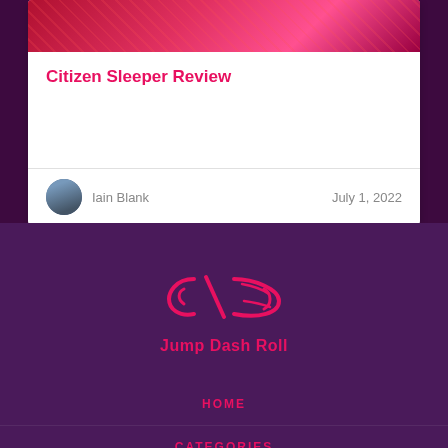[Figure (illustration): Card with colorful red/pink game artwork at the top]
Citizen Sleeper Review
Iain Blank
July 1, 2022
[Figure (logo): Jump Dash Roll logo — stylized infinity/speed icon in pink/red on dark purple background]
Jump Dash Roll
HOME
CATEGORIES